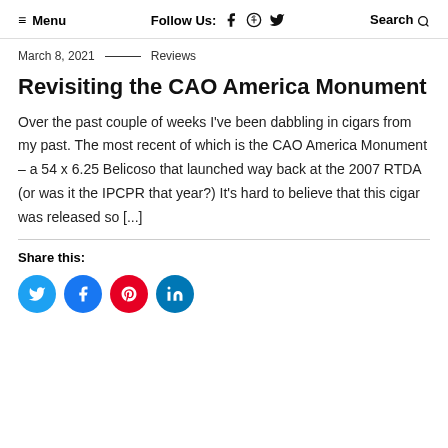≡ Menu   Follow Us: f  ⬤  🐦   Search 🔍
March 8, 2021 — Reviews
Revisiting the CAO America Monument
Over the past couple of weeks I've been dabbling in cigars from my past. The most recent of which is the CAO America Monument – a 54 x 6.25 Belicoso that launched way back at the 2007 RTDA (or was it the IPCPR that year?) It's hard to believe that this cigar was released so [...]
Share this: